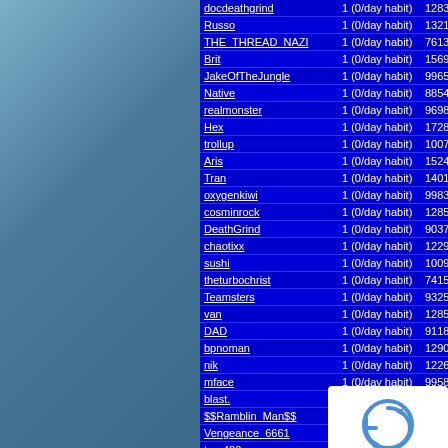| Username | Activity | Posts |
| --- | --- | --- |
| docdeathgrind | 1  (0/day habit) | 12838 |
| Russo | 1  (0/day habit) | 13211 |
| THE_THREAD_NAZI | 1  (0/day habit) | 7613 |
| Brit | 1  (0/day habit) | 15690 |
| JakeOfTheJungle | 1  (0/day habit) | 9965 |
| Native | 1  (0/day habit) | 8854 |
| realmonster | 1  (0/day habit) | 9698 |
| Hex | 1  (0/day habit) | 17287 |
| trollup | 1  (0/day habit) | 10075 |
| Aris | 1  (0/day habit) | 15244 |
| Tran | 1  (0/day habit) | 14013 |
| oxygenkiwi | 1  (0/day habit) | 9983 |
| cosminrock | 1  (0/day habit) | 12856 |
| DeathGrind | 1  (0/day habit) | 9037 |
| chaotixx | 1  (0/day habit) | 12296 |
| sushi | 1  (0/day habit) | 10098 |
| theturbochrist | 1  (0/day habit) | 7415 |
| Teamsters | 1  (0/day habit) | 9325 |
| van | 1  (0/day habit) | 12858 |
| DAD | 1  (0/day habit) | 9118 |
| bpnoman | 1  (0/day habit) | 12904 |
| nik | 1  (0/day habit) | 12267 |
| mface | 1  (0/day habit) | 9958 |
| blast. | 1  (0/day habit) |  |
| $$Ramblin_Man$$ | 1  (0/day habit) |  |
| Vengeance_6661 | 1  (0/day habit) |  |
| tara420 | 1  (0/day habit) |  |
| evilisthenewgood | 1  (0/day habit) | 10041 |